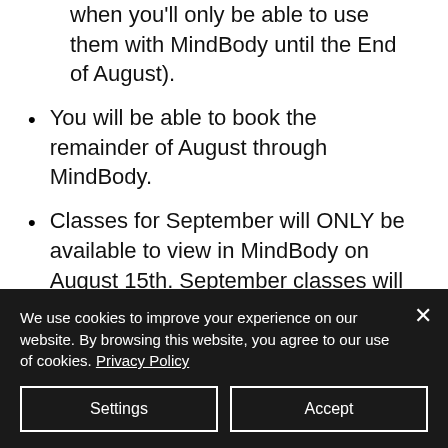when you'll only be able to use them with MindBody until the End of August).
You will be able to book the remainder of August through MindBody.
Classes for September will ONLY be available to view in MindBody on August 15th. September classes will be available to book through Wix on August 15th, however,
We use cookies to improve your experience on our website. By browsing this website, you agree to our use of cookies. Privacy Policy
Settings
Accept